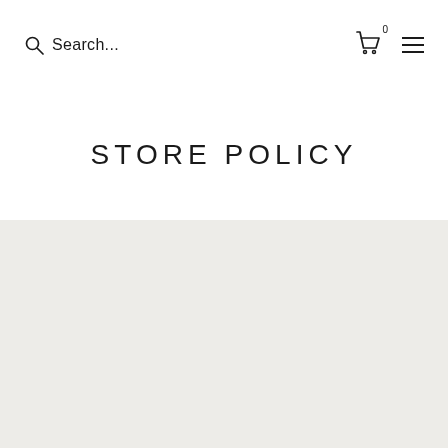Search... [cart icon with 0] [menu icon]
STORE POLICY
[Figure (other): Large light gray/beige blank content area placeholder]